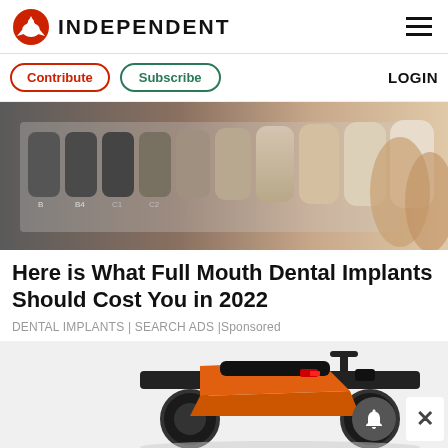INDEPENDENT
Contribute | Subscribe | LOGIN
[Figure (photo): Dental shade guide showing a row of tooth-colored samples ranging from dark grey/brown to light ivory/cream, held near a person's fingers]
Here is What Full Mouth Dental Implants Should Cost You in 2022
DENTAL IMPLANTS | SEARCH ADS | Sponsored
[Figure (photo): Orange and black off-road electric motorcycle/dirt bike shown from the front-left angle on a white background, with a notification bell icon and close button overlaid]